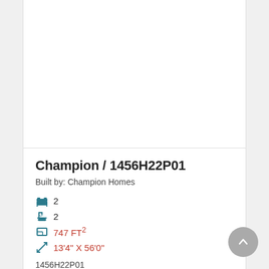[Figure (photo): White/blank photo area showing a manufactured home listing image placeholder]
Champion / 1456H22P01
Built by: Champion Homes
2 (bedrooms)
2 (bathrooms)
747 FT²
13'4" X 56'0"
1456H22P01